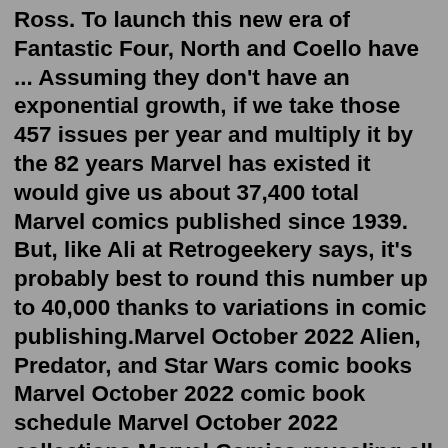Ross. To launch this new era of Fantastic Four, North and Coello have ... Assuming they don't have an exponential growth, if we take those 457 issues per year and multiply it by the 82 years Marvel has existed it would give us about 37,400 total Marvel comics published since 1939. But, like Ali at Retrogeekery says, it's probably best to round this number up to 40,000 thanks to variations in comic publishing.Marvel October 2022 Alien, Predator, and Star Wars comic books Marvel October 2022 comic book schedule Marvel October 2022 collections Marvel Comics revealing all their new comic books for sale in...Read Marvel Comic Online for Free in English This is a list of active and upcoming Marvel Comics printed comic books (as opposed to digital comics, trade paperbacks, hardcover books, etc.). The list is updated as of August 15, 2022. The list is updated as of August 15, 2022. Oct 21, 2021 · That's because the Marvel story — and yes, unlike DC Comics, Marvel has connected nearly all its series in